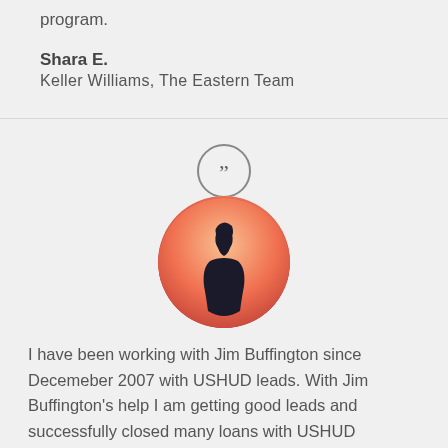program.
Shara E.
Keller Williams, The Eastern Team
[Figure (illustration): Circular quote icon (double closing quotation marks inside a circle outline)]
[Figure (photo): Circular profile photo of a person silhouetted against an orange/pink sunset background]
I have been working with Jim Buffington since Decemeber 2007 with USHUD leads. With Jim Buffington's help I am getting good leads and successfully closed many loans with USHUD customers. Jim is very detailed person that will listen and provide information for you to be successful and comfortable to close loans